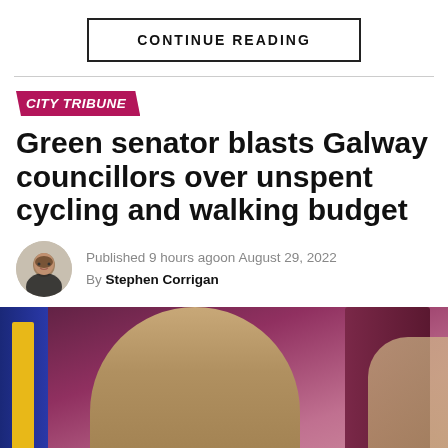CONTINUE READING
Green senator blasts Galway councillors over unspent cycling and walking budget
Published 9 hours agoon August 29, 2022
By Stephen Corrigan
[Figure (photo): Photo of people, appears to show a person with blonde hair in the foreground and another person partially visible, with a dark red/maroon door or wall in the background and a blue element on the left side.]